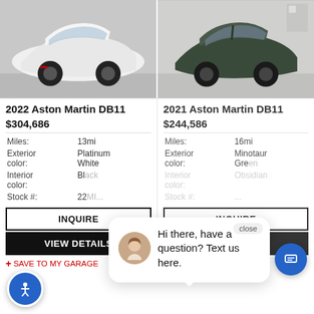[Figure (photo): 2022 Aston Martin DB11 in Platinum White, front three-quarter view in a showroom]
[Figure (photo): 2021 Aston Martin DB11 in Minotaur Green, front three-quarter view in a showroom]
2022 Aston Martin DB11
$304,686
2021 Aston Martin DB11
$244,586
| Miles: | 13mi |
| Exterior color: | Platinum White |
| Interior color: | Bl... |
| Stock #: | 22... |
| Miles: | 16mi |
| Exterior color: | Minotaur Green |
| Interior color: | Obsidian... |
| Stock #: | ... |
INQUIRE
VIEW DETAILS
SAVE TO MY GARAGE
INQUIRE
VIEW DETAILS
SAVE TO MY GARAGE
Hi there, have a question? Text us here.
close